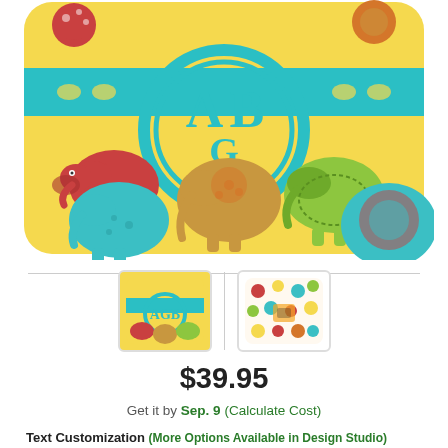[Figure (photo): Product image of a colorful elephant-themed monogram blanket/throw with yellow background, decorative elephants in red, teal, green, and tan colors, and a large teal monogram 'AGB' in the center. Rounded corners on the product.]
[Figure (photo): Two product thumbnail images side by side separated by a vertical divider. Left thumbnail shows the elephant monogram blanket. Right thumbnail shows a colorful polka dot pattern product.]
$39.95
Get it by Sep. 9 (Calculate Cost)
Text Customization (More Options Available in Design Studio)